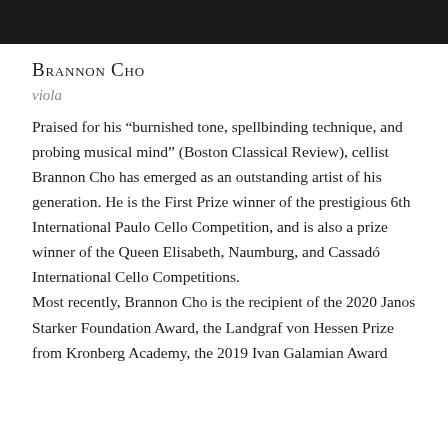[Figure (photo): Dark cropped photo bar at top of page showing partial image]
Brannon Cho
viola
Praised for his “burnished tone, spellbinding technique, and probing musical mind” (Boston Classical Review), cellist Brannon Cho has emerged as an outstanding artist of his generation. He is the First Prize winner of the prestigious 6th International Paulo Cello Competition, and is also a prize winner of the Queen Elisabeth, Naumburg, and Cassadó International Cello Competitions.
Most recently, Brannon Cho is the recipient of the 2020 Janos Starker Foundation Award, the Landgraf von Hessen Prize from Kronberg Academy, the 2019 Ivan Galamian Award